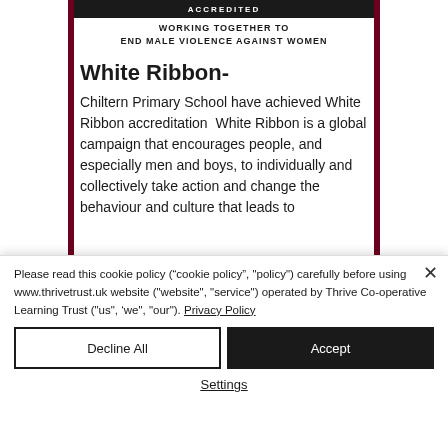[Figure (screenshot): White Ribbon accreditation page from Chiltern Primary School website, showing accredited banner, 'Working Together to End Male Violence Against Women' tagline, and article text about White Ribbon accreditation]
White Ribbon-
Chiltern Primary School have achieved White Ribbon accreditation  White Ribbon is a global campaign that encourages people, and especially men and boys, to individually and collectively take action and change the behaviour and culture that leads to
Please read this cookie policy (“cookie policy”, "policy") carefully before using www.thrivetrust.uk website ("website", "service") operated by Thrive Co-operative Learning Trust ("us", ‘we", "our"). Privacy Policy
Decline All
Accept
Settings